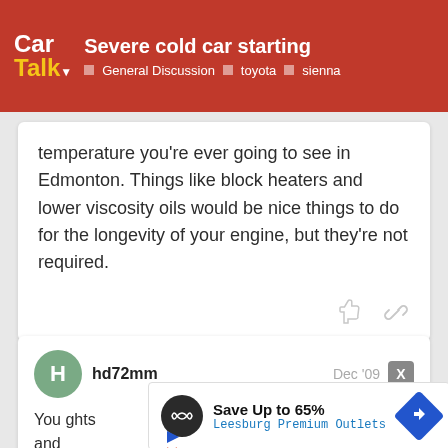Severe cold car starting | General Discussion · toyota · sienna
temperature you're ever going to see in Edmonton. Things like block heaters and lower viscosity oils would be nice things to do for the longevity of your engine, but they're not required.
hd72mm — Dec '09
You ... ights and If ba... work...
[Figure (screenshot): Advertisement overlay: Save Up to 65% Leesburg Premium Outlets with navigation icon]